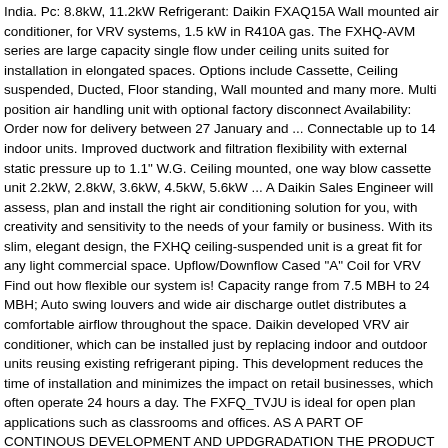India. Pc: 8.8kW, 11.2kW Refrigerant: Daikin FXAQ15A Wall mounted air conditioner, for VRV systems, 1.5 kW in R410A gas. The FXHQ-AVM series are large capacity single flow under ceiling units suited for installation in elongated spaces. Options include Cassette, Ceiling suspended, Ducted, Floor standing, Wall mounted and many more. Multi position air handling unit with optional factory disconnect Availability: Order now for delivery between 27 January and ... Connectable up to 14 indoor units. Improved ductwork and filtration flexibility with external static pressure up to 1.1" W.G. Ceiling mounted, one way blow cassette unit 2.2kW, 2.8kW, 3.6kW, 4.5kW, 5.6kW ... A Daikin Sales Engineer will assess, plan and install the right air conditioning solution for you, with creativity and sensitivity to the needs of your family or business. With its slim, elegant design, the FXHQ ceiling-suspended unit is a great fit for any light commercial space. Upflow/Downflow Cased "A" Coil for VRV Find out how flexible our system is! Capacity range from 7.5 MBH to 24 MBH; Auto swing louvers and wide air discharge outlet distributes a comfortable airflow throughout the space. Daikin developed VRV air conditioner, which can be installed just by replacing indoor and outdoor units reusing existing refrigerant piping. This development reduces the time of installation and minimizes the impact on retail businesses, which often operate 24 hours a day. The FXFQ_TVJU is ideal for open plan applications such as classrooms and offices. AS A PART OF CONTINOUS DEVELOPMENT AND UPDGRADATION THE PRODUCT IMAGE/ACCESSORY/FEATURE MAY BE DIFFERENT FROM ACTUAL PRODUCT